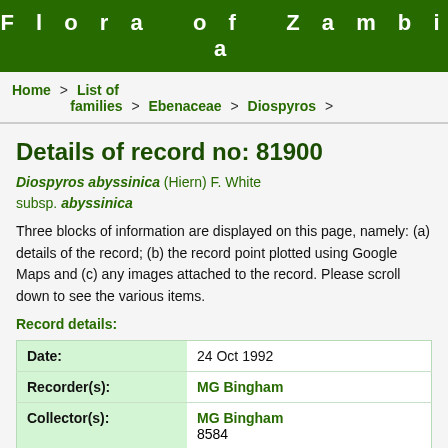Flora of Zambia
Home > List of families > Ebenaceae > Diospyros >
Details of record no: 81900
Diospyros abyssinica (Hiern) F. White subsp. abyssinica
Three blocks of information are displayed on this page, namely: (a) details of the record; (b) the record point plotted using Google Maps and (c) any images attached to the record. Please scroll down to see the various items.
Record details:
| Field | Value |
| --- | --- |
| Date: | 24 Oct 1992 |
| Recorder(s): | MG Bingham |
| Collector(s): | MG Bingham
8584 |
| Determiner(s): | S Bodine |
| Confirmer(s): |  |